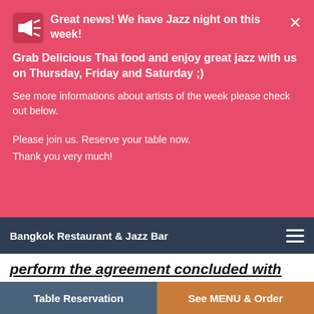Great news! We have Jazz night on this week!
Grab Delicious Thai food and enjoy great jazz with us on Thursday, Friday and Saturday ;)
See more informations about artists of the week please check out below.
Please join us. Reserve your table now.
Thank you very much!
Bangkok Restaurant & Jazz Bar
perform the agreement concluded with the client (the “agreement”).
2.2. Your electronic contact details provided in the context of selling a product or a service may be used
Table Reservation | See MENU & Order